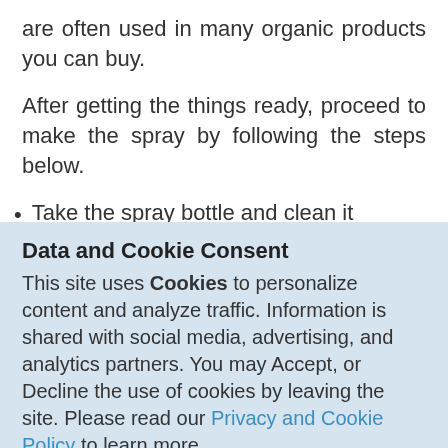are often used in many organic products you can buy.
After getting the things ready, proceed to make the spray by following the steps below.
Take the spray bottle and clean it
Data and Cookie Consent
This site uses Cookies to personalize content and analyze traffic. Information is shared with social media, advertising, and analytics partners. You may Accept, or Decline the use of cookies by leaving the site. Please read our Privacy and Cookie Policy to learn more.
Accept